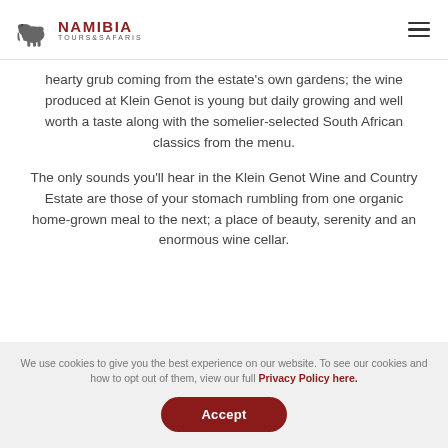NAMIBIA TOURS & SAFARIS
hearty grub coming from the estate's own gardens; the wine produced at Klein Genot is young but daily growing and well worth a taste along with the somelier-selected South African classics from the menu.
The only sounds you'll hear in the Klein Genot Wine and Country Estate are those of your stomach rumbling from one organic home-grown meal to the next; a place of beauty, serenity and an enormous wine cellar.
We use cookies to give you the best experience on our website. To see our cookies and how to opt out of them, view our full Privacy Policy here.
Accept